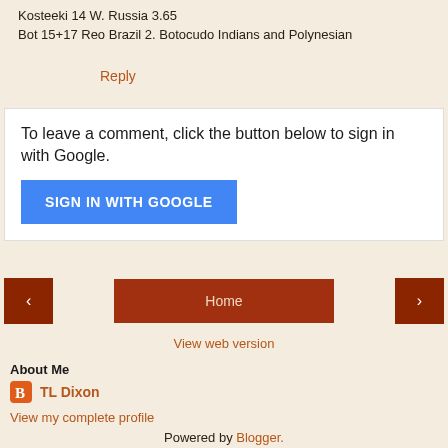Kosteeki 14 W. Russia 3.65
Bot 15+17 Reo Brazil 2. Botocudo Indians and Polynesian
Reply
To leave a comment, click the button below to sign in with Google.
SIGN IN WITH GOOGLE
‹
Home
›
View web version
About Me
TL Dixon
View my complete profile
Powered by Blogger.